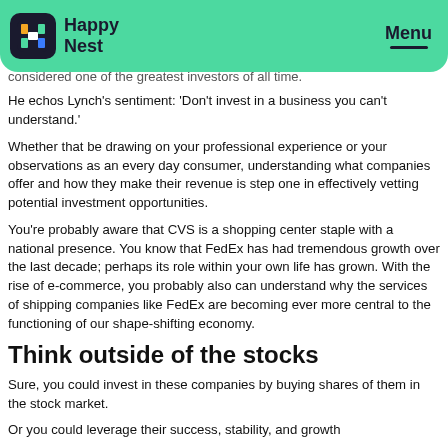Happy Nest | Menu
considered one of the greatest investors of all time.
He echos Lynch's sentiment: 'Don't invest in a business you can't understand.'
Whether that be drawing on your professional experience or your observations as an every day consumer, understanding what companies offer and how they make their revenue is step one in effectively vetting potential investment opportunities.
You're probably aware that CVS is a shopping center staple with a national presence. You know that FedEx has had tremendous growth over the last decade; perhaps its role within your own life has grown. With the rise of e-commerce, you probably also can understand why the services of shipping companies like FedEx are becoming ever more central to the functioning of our shape-shifting economy.
Think outside of the stocks
Sure, you could invest in these companies by buying shares of them in the stock market.
Or you could leverage their success, stability, and growth